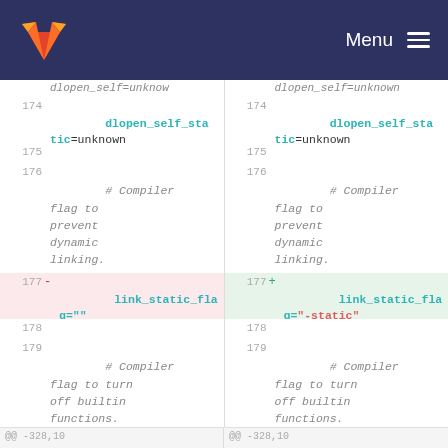GitLab Menu
Diff view showing code changes. Left panel (old): lines 174-180 with dlopen_self_static=unknown, link_static_flag="", no_builtin_flag=" -fno-builtin". Right panel (new): same lines with link_static_flag="-static" changed.